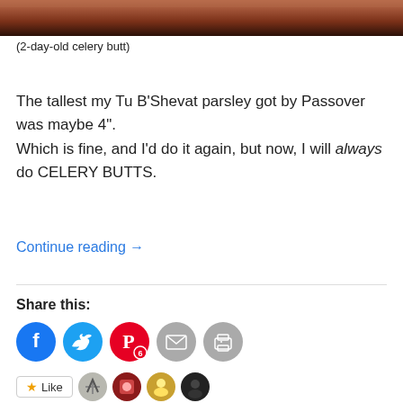[Figure (photo): Close-up photo of a 2-day-old celery butt in a container, showing dark reddish-brown stalks at top of frame]
(2-day-old celery butt)
The tallest my Tu B'Shevat parsley got by Passover was maybe 4”.
Which is fine, and I’d do it again, but now, I will always do CELERY BUTTS.
Continue reading →
Share this:
[Figure (infographic): Social share buttons: Facebook (blue circle), Twitter (blue circle), Pinterest (red circle with badge 6), Email (grey circle), Print (grey circle)]
[Figure (infographic): Like button and 4 blogger avatars row]
4 bloggers like this.